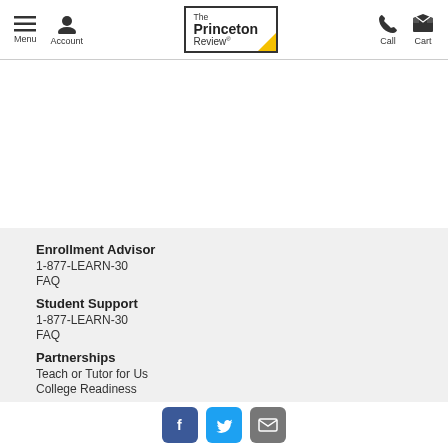Menu | Account | The Princeton Review | Call | Cart
Enrollment Advisor
1-877-LEARN-30
FAQ
Student Support
1-877-LEARN-30
FAQ
Partnerships
Teach or Tutor for Us
College Readiness
[Figure (logo): Social media icons: Facebook, Twitter, Email]